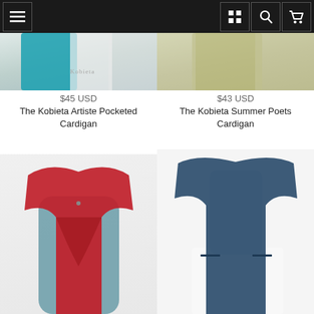Navigation bar with menu, grid, search, and cart icons
[Figure (photo): Partial view of a mannequin wearing a teal/blue cardigan with white blouse, Kobieta watermark visible]
[Figure (photo): Partial view of a mannequin wearing a khaki/olive open cardigan]
$45 USD
The Kobieta Artiste Pocketed Cardigan
$43 USD
The Kobieta Summer Poets Cardigan
[Figure (photo): Mannequin wearing a red draped open-front cardigan over a teal dress]
[Figure (photo): Mannequin wearing a navy/denim blue open-front cardigan over white pants]